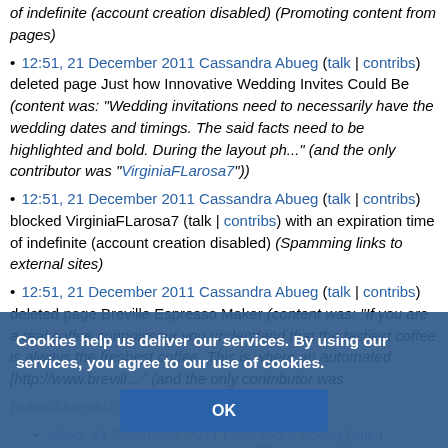of indefinite (account creation disabled) (Promoting content from pages)
12:51, 21 December 2011 Cassandra Abueg (talk | contribs) deleted page Just how Innovative Wedding Invites Could Be (content was: "Wedding invitations need to necessarily have the wedding dates and timings. The said facts need to be highlighted and bold. During the layout ph..." (and the only contributor was "VirginiaFLarosa7"))
12:51, 21 December 2011 Cassandra Abueg (talk | contribs) blocked VirginiaFLarosa7 (talk | contribs) with an expiration time of indefinite (account creation disabled) (Spamming links to external sites)
12:51, 21 December 2011 Cassandra Abueg (talk | contribs) deleted page Breville Espresso Maker (content was: "If you are a real coffee connoisseur you understand that the tastiest coffee is always the freshest coffee. This is where an automated [http://www.brevill..." (and the only contributor was "BokariAbworkl1"))
12:50, 21 December 2011 Cassandra Abueg (talk | contribs) deleted page Talk:Breville Espresso Maker (content was: "If...
Cookies help us deliver our services. By using our services, you agree to our use of cookies.